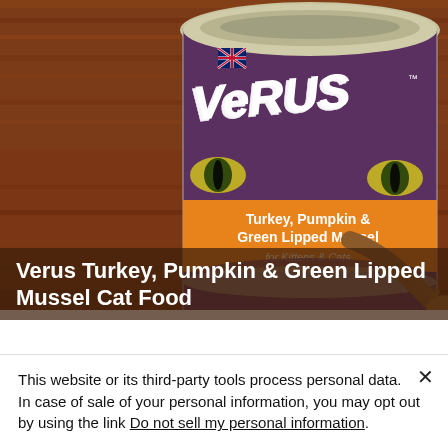[Figure (photo): A can of VeRUS brand cat food (Turkey, Pumpkin & Green Lipped Mussel for Kittens & Cats) sitting on a wooden surface, with a wooden spoon visible to the right. The can has a label featuring cat eyes and a UK flag, with an orange band describing the flavor.]
Verus Turkey, Pumpkin & Green Lipped Mussel Cat Food
This website or its third-party tools process personal data.
In case of sale of your personal information, you may opt out by using the link Do not sell my personal information.